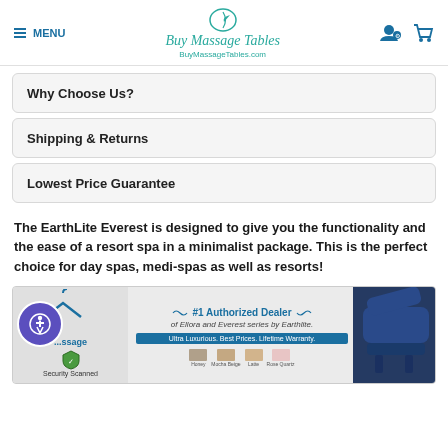MENU | Buy Massage Tables | BuyMassageTables.com
Why Choose Us?
Shipping & Returns
Lowest Price Guarantee
The EarthLite Everest is designed to give you the functionality and the ease of a resort spa in a minimalist package. This is the perfect choice for day spas, medi-spas as well as resorts!
[Figure (infographic): Banner showing '#1 Authorized Dealer of Ellora and Everest series by Earthlite. Ultra Luxurious. Best Prices. Lifetime Warranty.' with fabric swatches and image of blue massage table. Includes accessibility badge and security scanned badge.]